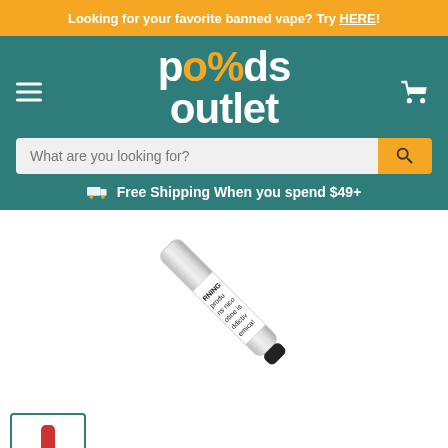Looking for your favorite banned vape? Try HERE!
[Figure (logo): Pods Outlet logo with percent sign, on teal background, with hamburger menu and cart icon]
What are you looking for?
Free Shipping When you spend $49+
[Figure (photo): A vape pen/pod device shown diagonally with a nicotine warning label partially visible reading: WARNING this product contains nicotine is addictive chemical]
[Figure (photo): Small thumbnail image of a red vape pen, shown in a teal-bordered box at bottom left]